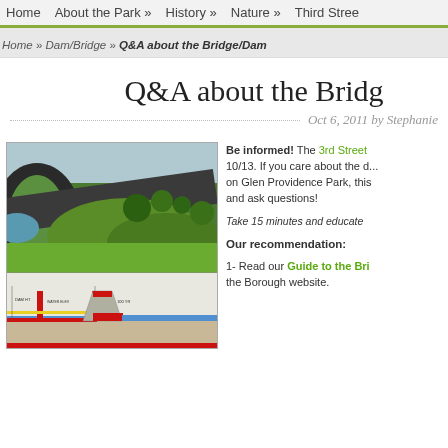Home   About the Park »   History »   Nature »   Third Stree
Home » Dam/Bridge » Q&A about the Bridge/Dam
Q&A about the Bridge/Dam
Oct 6, 2011 by Stephanie
[Figure (photo): Top: 3D rendering of bridge/park area with road and green landscaping. Bottom: Engineering cross-section diagram showing dam/bridge structure with red and yellow elements.]
Be informed! The 3rd Street meeting is on 10/13. If you care about the dam/bridge impact on Glen Providence Park, this is your chance to come and ask questions! Take 15 minutes and educate yourself. Our recommendation: 1- Read our Guide to the Bridge/Dam on the Borough website.